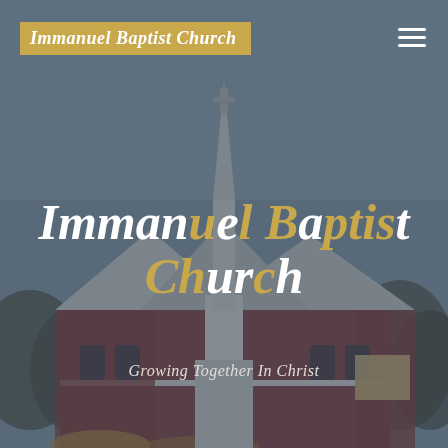[Figure (photo): Exterior photo of Immanuel Baptist Church building showing a red brick church with a white steeple against a grey/blue sky, surrounded by bare trees. The image has a dark blue-grey overlay applied.]
Immanuel Baptist Church
Immanuel Baptist Church
Growing Together In Christ